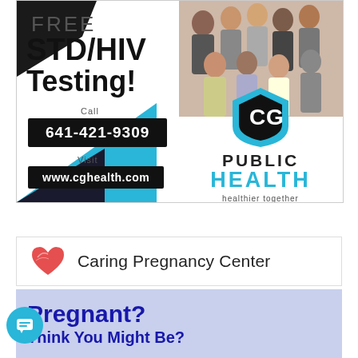[Figure (infographic): CG Public Health advertisement for Free STD/HIV Testing. Shows group photo top right, black and cyan triangles, CG shield logo. Text: FREE STD/HIV Testing! Call 641-421-9309. Visit www.cghealth.com. PUBLIC HEALTH healthier together.]
[Figure (logo): Caring Pregnancy Center logo with red heart icon and text 'Caring Pregnancy Center']
[Figure (infographic): Light blue/purple banner with bold navy text: Pregnant? Think You Might Be?]